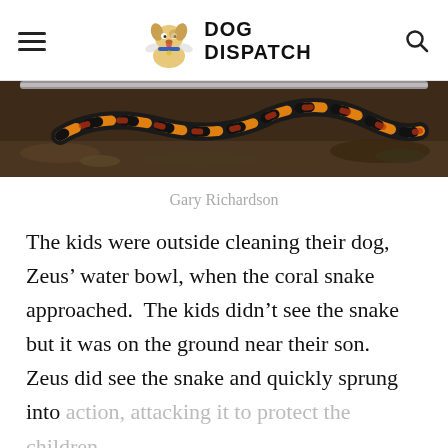DOG DISPATCH
[Figure (photo): Close-up photo of a coral snake with black and orange/yellow banding, partially obscured, appearing to be in a container or on ground with debris.]
Gary Richardson
The kids were outside cleaning their dog, Zeus' water bowl, when the coral snake approached.  The kids didn't see the snake but it was on the ground near their son.  Zeus did see the snake and quickly sprung into action, attacking it to protect the children.